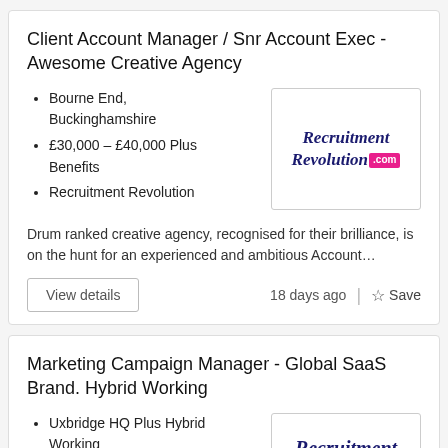Client Account Manager / Snr Account Exec - Awesome Creative Agency
Bourne End, Buckinghamshire
£30,000 – £40,000 Plus Benefits
Recruitment Revolution
[Figure (logo): Recruitment Revolution .com logo in dark navy italic serif font with .com in a pink/magenta badge]
Drum ranked creative agency, recognised for their brilliance, is on the hunt for an experienced and ambitious Account…
View details
18 days ago
Save
Marketing Campaign Manager - Global SaaS Brand. Hybrid Working
Uxbridge HQ Plus Hybrid Working
[Figure (logo): Recruitment logo in dark navy italic serif font (partial, bottom cut off)]